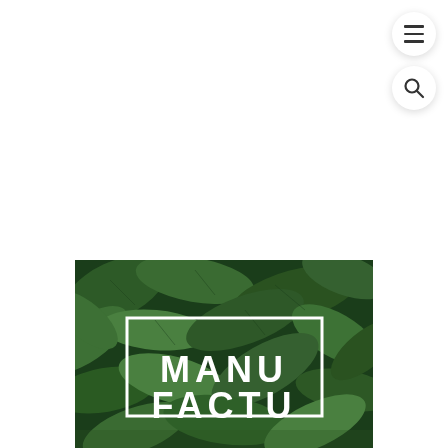[Figure (screenshot): Navigation UI element: circular white hamburger menu button with three horizontal lines]
[Figure (screenshot): Navigation UI element: circular white search button with magnifying glass icon]
[Figure (photo): A photo of dense green tropical leaves with a white rectangular frame overlay and bold white text reading MANU on one line and FACTU (partially visible) on the next line]